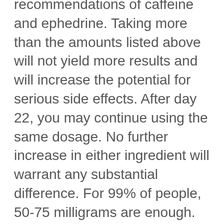recommendations of caffeine and ephedrine. Taking more than the amounts listed above will not yield more results and will increase the potential for serious side effects. After day 22, you may continue using the same dosage. No further increase in either ingredient will warrant any substantial difference. For 99% of people, 50-75 milligrams are enough. This is considered to be the sweet spot and a higher dosage is not needed. Keep in mind that ephed. works well as a standalone and doesn't need to be stacked with caffeine, however, caffeine has been shown to work in synergy with ephedrine and enhance its effects. I do NOT recommend